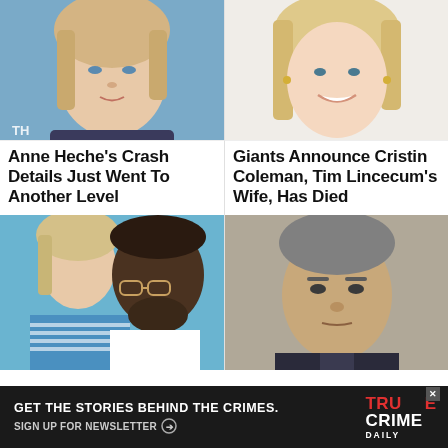[Figure (photo): Blonde woman smiling at camera (Anne Heche), blue background]
[Figure (photo): Blonde woman smiling at camera (Cristin Coleman)]
Anne Heche's Crash Details Just Went To Another Level
Giants Announce Cristin Coleman, Tim Lincecum's Wife, Has Died
[Figure (photo): Older blonde woman and man with glasses and beard (Martha Stewart and Snoop Dogg)]
[Figure (photo): Middle-aged man in suit looking serious (Jeffrey Epstein)]
GET THE STORIES BEHIND THE CRIMES. SIGN UP FOR NEWSLETTER
[Figure (logo): True Crime Daily logo]